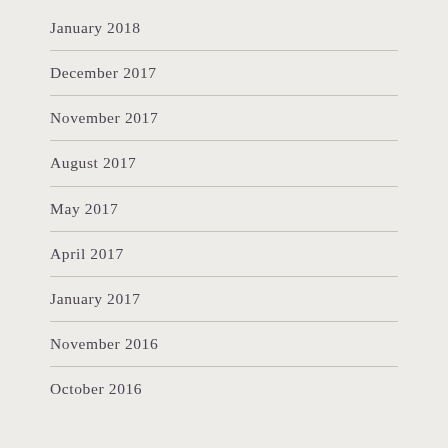January 2018
December 2017
November 2017
August 2017
May 2017
April 2017
January 2017
November 2016
October 2016